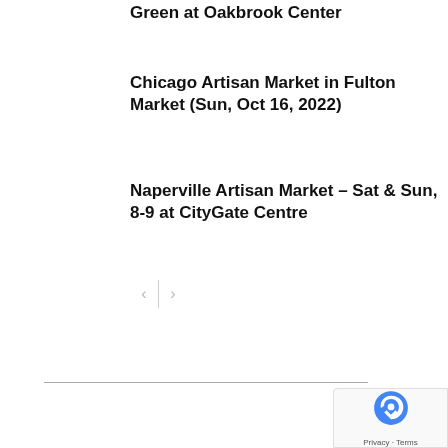Green at Oakbrook Center
Chicago Artisan Market in Fulton Market (Sun, Oct 16, 2022)
Naperville Artisan Market – Sat & Sun, 8-9 at CityGate Centre
Privacy · Terms